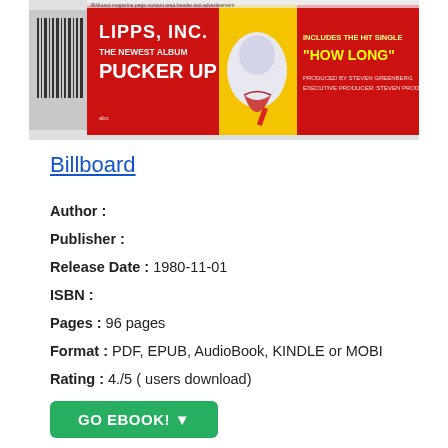[Figure (photo): Magazine advertisement image for Lipps Inc. album 'Pucker Up' with red and yellow background, featuring text 'LIPPS, INC. THE NEWEST ALBUM PUCKER UP' and 'INCLUDES THE HIT SINGLE HOW LONG']
Billboard
Author :
Publisher :
Release Date : 1980-11-01
ISBN :
Pages : 96 pages
Format : PDF, EPUB, AudioBook, KINDLE or MOBI
Rating : 4./5 ( users download)
GO EBOOK!